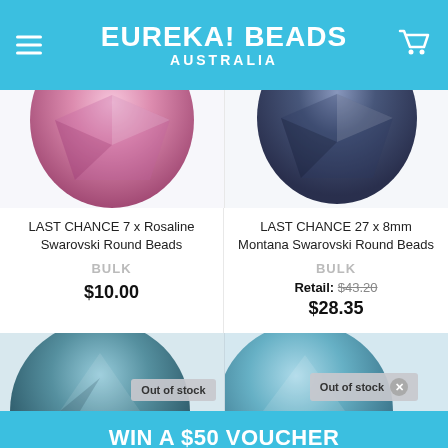EUREKA! BEADS AUSTRALIA
[Figure (photo): Two Swarovski crystal beads partially visible at top: pink/rosaline on left, navy/montana on right]
LAST CHANCE 7 x Rosaline Swarovski Round Beads
BULK
$10.00
LAST CHANCE 27 x 8mm Montana Swarovski Round Beads
BULK
Retail: $43.20
$28.35
[Figure (photo): Two Swarovski teal/aqua crystal beads partially visible at bottom with Out of stock badges]
Out of stock
Out of stock
WIN A $50 VOUCHER
ENTER